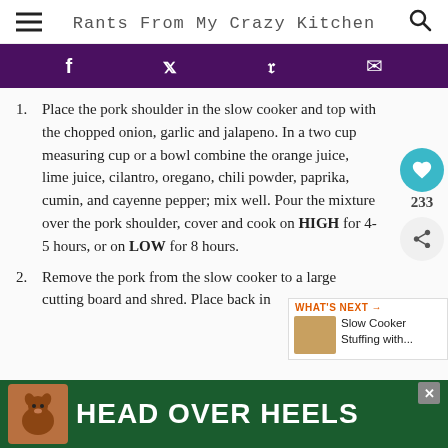Rants From My Crazy Kitchen
Place the pork shoulder in the slow cooker and top with the chopped onion, garlic and jalapeno. In a two cup measuring cup or a bowl combine the orange juice, lime juice, cilantro, oregano, chili powder, paprika, cumin, and cayenne pepper; mix well. Pour the mixture over the pork shoulder, cover and cook on HIGH for 4-5 hours, or on LOW for 8 hours.
Remove the pork from the slow cooker to a large cutting board and shred. Place back in